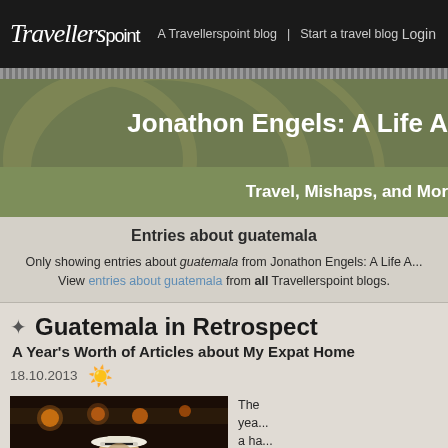Travellerspoint | A Travellerspoint blog  Start a travel blog  Login
Jonathon Engels: A Life A...
Travel, Mishaps, and Mor...
Entries about guatemala
Only showing entries about guatemala from Jonathon Engels: A Life A... View entries about guatemala from all Travellerspoint blogs.
Guatemala in Retrospect
A Year's Worth of Articles about My Expat Home
18.10.2013
[Figure (photo): A man wearing a white hat in a dimly lit venue with decorative lights]
The... yea... a ha... livi...